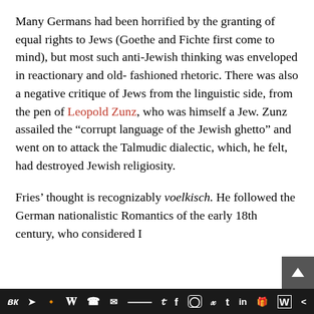Many Germans had been horrified by the granting of equal rights to Jews (Goethe and Fichte first come to mind), but most such anti-Jewish thinking was enveloped in reactionary and old- fashioned rhetoric. There was also a negative critique of Jews from the linguistic side, from the pen of Leopold Zunz, who was himself a Jew. Zunz assailed the “corrupt language of the Jewish ghetto” and went on to attack the Talmudic dialectic, which, he felt, had destroyed Jewish religiosity.
Fries’ thought is recognizably voelkisch. He followed the German nationalistic Romantics of the early 19th century, who considered I...
Social share bar: vk, telegram, reddit, wordpress, whatsapp, email, buffer, twitter, facebook, instagram, pinterest, tumblr, linkedin, share, w, share